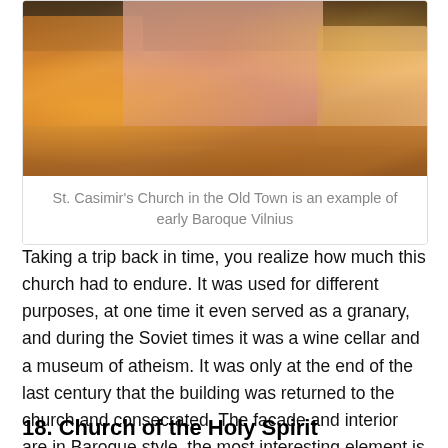[Figure (photo): Nighttime photo of St. Casimir's Church in the Old Town of Vilnius, showing a pink Baroque facade lit by orange street lamps, with a town square in the foreground.]
St. Casimir's Church in the Old Town is an example of early Baroque Vilnius
Taking a trip back in time, you realize how much this church had to endure. It was used for different purposes, at one time it even served as a granary, and during the Soviet times it was a wine cellar and a museum of atheism. It was only at the end of the last century that the building was returned to the church and consecrated. The facade and interior are in Baroque style, the most interesting element is the dome made in the form of a crown.
18. Church of the Holy Spirit